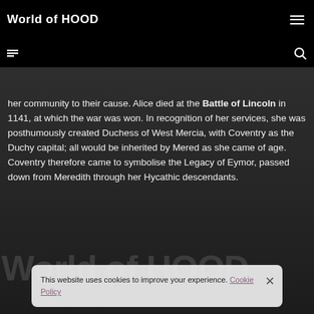World of HOOD
her community to their cause. Alice died at the Battle of Lincoln in 1141, at which the war was won. In recognition of her services, she was posthumously created Duchess of West Mercia, with Coventry as the Duchy capital; all would be inherited by Mered as she came of age. Coventry therefore came to symbolise the Legacy of Eymor, passed down from Meredith through her Hycathic descendants.
World of HOOD
This website uses cookies to improve your experience. Cookie Policy